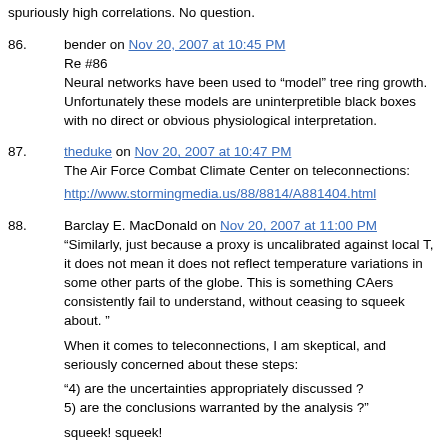spuriously high correlations. No question.
86. bender on Nov 20, 2007 at 10:45 PM
Re #86
Neural networks have been used to “model” tree ring growth. Unfortunately these models are uninterpretible black boxes with no direct or obvious physiological interpretation.
87. theduke on Nov 20, 2007 at 10:47 PM
The Air Force Combat Climate Center on teleconnections:
http://www.stormingmedia.us/88/8814/A881404.html
88. Barclay E. MacDonald on Nov 20, 2007 at 11:00 PM
“Similarly, just because a proxy is uncalibrated against local T, it does not mean it does not reflect temperature variations in some other parts of the globe. This is something CAers consistently fail to understand, without ceasing to squeek about. ”
When it comes to teleconnections, I am skeptical, and seriously concerned about these steps:
“4) are the uncertainties appropriately discussed ?
5) are the conclusions warranted by the analysis ?”
squeek! squeek!